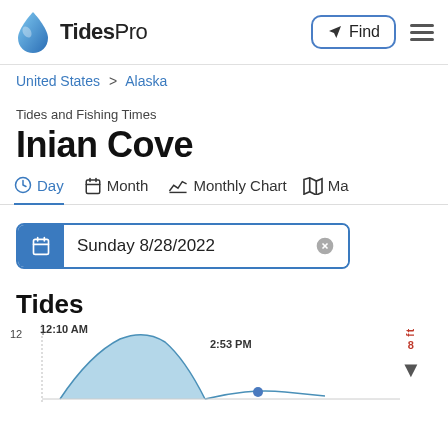TidesPro
United States > Alaska
Tides and Fishing Times
Inian Cove
Day  Month  Monthly Chart  Ma
Sunday 8/28/2022
Tides
[Figure (continuous-plot): Tide chart showing a high tide at 12:10 AM and another tide event at 2:53 PM, with a mountain-shaped wave curve and ft scale on the right side showing value 8]